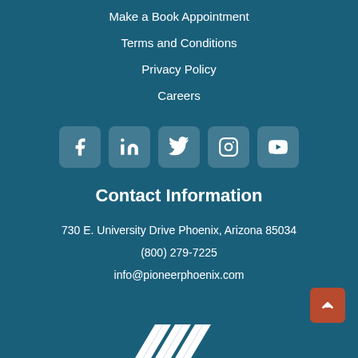Make a Book Appointment
Terms and Conditions
Privacy Policy
Careers
[Figure (infographic): Row of 5 social media icons (Facebook, LinkedIn, Twitter, Instagram, YouTube) in rounded square buttons]
Contact Information
730 E. University Drive Phoenix, Arizona 85034
(800) 279-7225
info@pioneerphoenix.com
[Figure (logo): Pioneer Phoenix logo - white stylized roof/chevron shapes at bottom of page]
[Figure (other): Back to top button - red rounded square with upward arrow chevron]